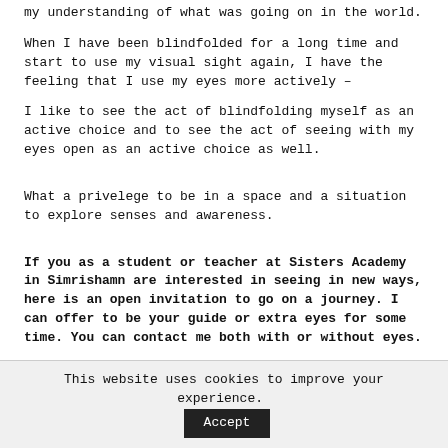my understanding of what was going on in the world.
When I have been blindfolded for a long time and start to use my visual sight again, I have the feeling that I use my eyes more actively –
I like to see the act of blindfolding myself as an active choice and to see the act of seeing with my eyes open as an active choice as well.
What a privelege to be in a space and a situation to explore senses and awareness.
If you as a student or teacher at Sisters Academy in Simrishamn are interested in seeing in new ways, here is an open invitation to go on a journey. I can offer to be your guide or extra eyes for some time. You can contact me both with or without eyes.
This website uses cookies to improve your experience. Accept